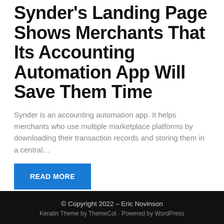Synder's Landing Page Shows Merchants That Its Accounting Automation App Will Save Them Time
Synder is an accounting automation app. It helps merchants who use multiple marketplace platforms by downloading their transaction records and storing them in a central…
READ MORE
1
2
...
9
>
© Copyright 2022 – Eric Novinson
Keratin Theme by ThemeCot · Powered by WordPress